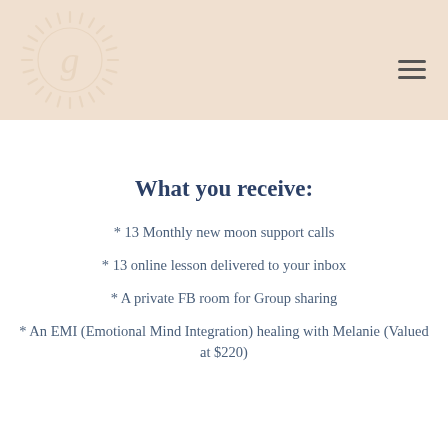[Figure (logo): Circular sunburst logo with letter g in the center, white on beige background]
What you receive:
* 13 Monthly new moon support calls
* 13 online lesson delivered to your inbox
* A private FB room for Group sharing
* An EMI (Emotional Mind Integration) healing with Melanie (Valued at $220)